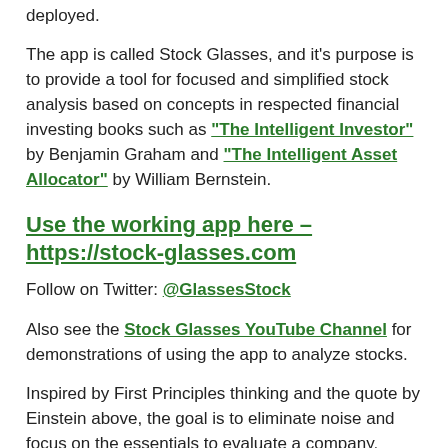deployed.
The app is called Stock Glasses, and it’s purpose is to provide a tool for focused and simplified stock analysis based on concepts in respected financial investing books such as “The Intelligent Investor” by Benjamin Graham and “The Intelligent Asset Allocator” by William Bernstein.
Use the working app here – https://stock-glasses.com
Follow on Twitter: @GlassesStock
Also see the Stock Glasses YouTube Channel for demonstrations of using the app to analyze stocks.
Inspired by First Principles thinking and the quote by Einstein above, the goal is to eliminate noise and focus on the essentials to evaluate a company.  Basically the app focuses on